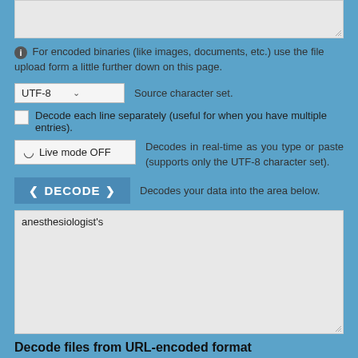[Figure (screenshot): Top textarea input box (partially visible, gray background)]
For encoded binaries (like images, documents, etc.) use the file upload form a little further down on this page.
[Figure (screenshot): UTF-8 dropdown selector for Source character set]
Source character set.
Decode each line separately (useful for when you have multiple entries).
Live mode OFF   Decodes in real-time as you type or paste (supports only the UTF-8 character set).
DECODE   Decodes your data into the area below.
[Figure (screenshot): Output textarea containing text: anesthesiologist's]
Decode files from URL-encoded format